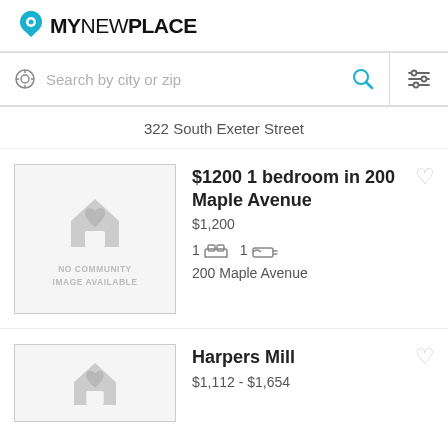[Figure (logo): MyNewPlace logo with map pin icon]
[Figure (screenshot): Search bar with location icon, placeholder text 'Search by city or zip', magnifier icon, and filter icon]
322 South Exeter Street
[Figure (illustration): Placeholder image: grey border box with grey house/heart icon and text NO COMMUNITY IMAGE AVAILABLE]
$1200 1 bedroom in 200 Maple Avenue
$1,200
1 [bed] 1 [bath]
200 Maple Avenue
Harpers Mill
$1,112 - $1,654